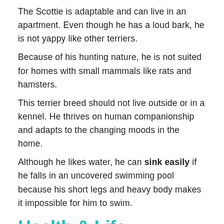The Scottie is adaptable and can live in an apartment. Even though he has a loud bark, he is not yappy like other terriers.
Because of his hunting nature, he is not suited for homes with small mammals like rats and hamsters.
This terrier breed should not live outside or in a kennel. He thrives on human companionship and adapts to the changing moods in the home.
Although he likes water, he can sink easily if he falls in an uncovered swimming pool because his short legs and heavy body makes it impossible for him to swim.
Health & Life Expectancy
Scottie's skin reacts harshly to flea bites. To avoid him shaving himself bald, it is essential to regularly run a